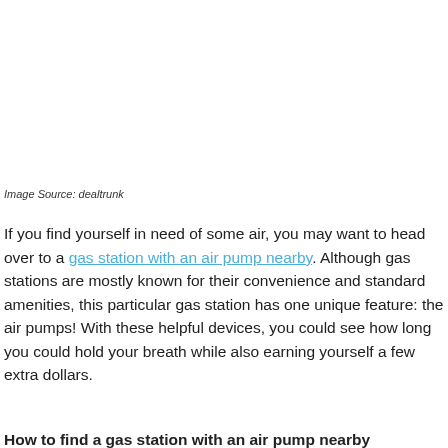Image Source: dealtrunk
If you find yourself in need of some air, you may want to head over to a gas station with an air pump nearby. Although gas stations are mostly known for their convenience and standard amenities, this particular gas station has one unique feature: the air pumps! With these helpful devices, you could see how long you could hold your breath while also earning yourself a few extra dollars.
How to find a gas station with an air pump nearby